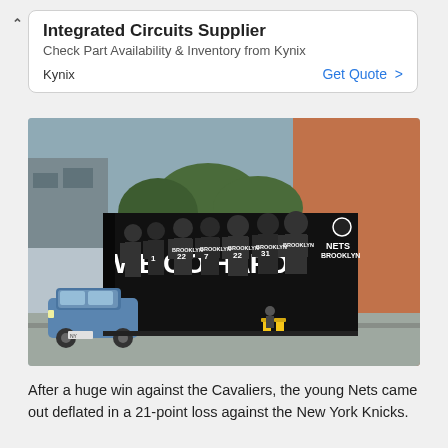[Figure (screenshot): Advertisement banner for Kynix Integrated Circuits Supplier with title, subtitle, brand name, and Get Quote CTA button]
[Figure (photo): A large Brooklyn Nets 'WE GO HARD.' mural on the side of a building in Brooklyn, featuring players in Nets uniforms. A blue SUV is parked on the left side of the street. Urban street scene with trees and buildings in background.]
After a huge win against the Cavaliers, the young Nets came out deflated in a 21-point loss against the New York Knicks.